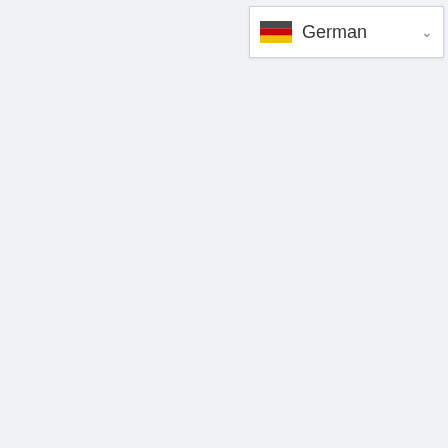[Figure (screenshot): A language selector dropdown UI element showing the German flag (black, red, yellow horizontal stripes) next to the text 'German' with a downward chevron arrow on the right, on a white background with a light border.]